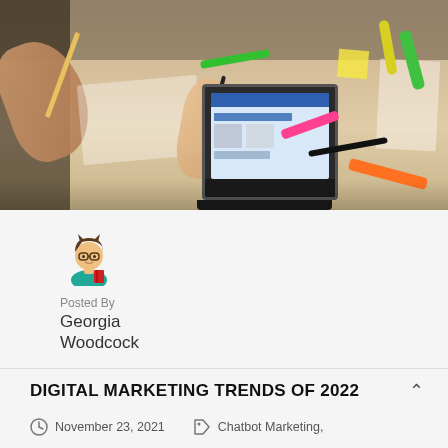[Figure (photo): Photo of people working at a desk with a laptop, markers, sticky notes, and papers scattered around]
Posted By
Georgia Woodcock
DIGITAL MARKETING TRENDS OF 2022
November 23, 2021   Chatbot Marketing,